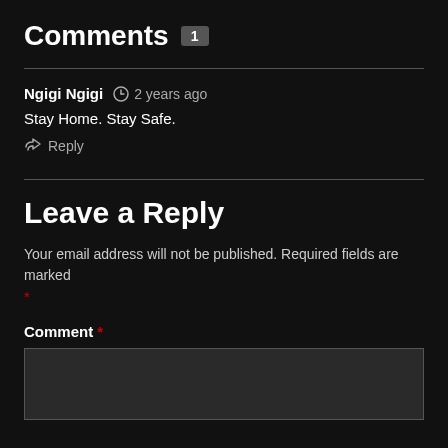Comments 1
Ngigi Ngigi  2 years ago
Stay Home. Stay Safe.
Reply
Leave a Reply
Your email address will not be published. Required fields are marked *
Comment *